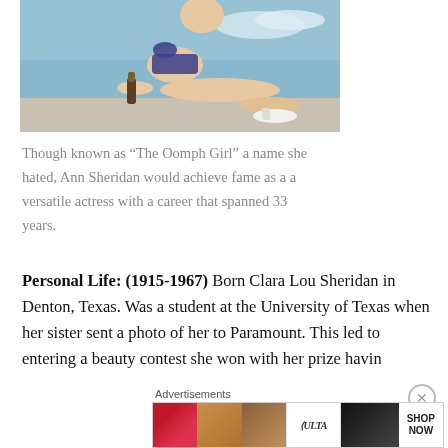[Figure (photo): Woman in floral bikini/swimwear sitting on a surface with a bottle beside her, blue sky background.]
Though known as “The Oomph Girl” a name she hated, Ann Sheridan would achieve fame as a a versatile actress with a career that spanned 33 years.
Personal Life: (1915-1967) Born Clara Lou Sheridan in Denton, Texas. Was a student at the University of Texas when her sister sent a photo of her to Paramount. This led to entering a beauty contest she won with her prize havin…
Advertisements
[Figure (photo): Ulta Beauty advertisement banner showing beauty makeup images and shop now text.]